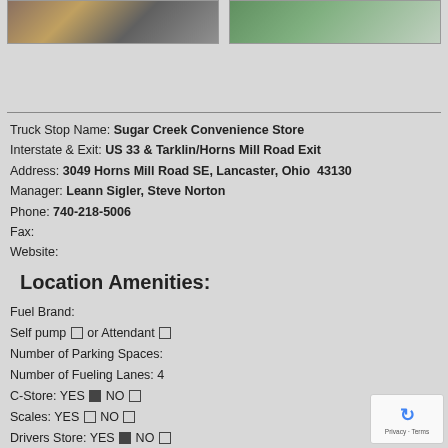[Figure (photo): Two photos at top of page: left shows outdoor furniture/patio area, right shows aerial view of road/parking area]
Truck Stop Name: Sugar Creek Convenience Store
Interstate & Exit: US 33 & Tarklin/Horns Mill Road Exit
Address: 3049 Horns Mill Road SE, Lancaster, Ohio  43130
Manager: Leann Sigler, Steve Norton
Phone: 740-218-5006
Fax:
Website:
Location Amenities:
Fuel Brand:
Self pump □ or Attendant □
Number of Parking Spaces:
Number of Fueling Lanes: 4
C-Store: YES ■ NO □
Scales: YES □ NO □
Drivers Store: YES ■ NO □
Showers: YES □ NO □
Laundry: YES □ NO □